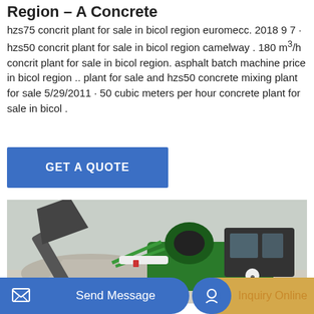Region – A Concrete
hzs75 concrit plant for sale in bicol region euromecc. 2018 9 7 · hzs50 concrit plant for sale in bicol region camelway . 180 m³/h concrit plant for sale in bicol region. asphalt batch machine price in bicol region .. plant for sale and hzs50 concrete mixing plant for sale 5/29/2011 · 50 cubic meters per hour concrete plant for sale in bicol .
[Figure (other): Blue button with text GET A QUOTE]
[Figure (photo): Green and black self-loading concrete mixer machine on a construction site with gravel in background]
[Figure (other): Bottom navigation bar with Send Message button (blue) and Inquiry Online button (gold/tan)]